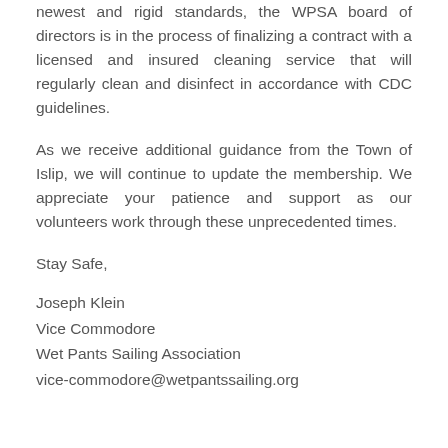newest and rigid standards, the WPSA board of directors is in the process of finalizing a contract with a licensed and insured cleaning service that will regularly clean and disinfect in accordance with CDC guidelines.
As we receive additional guidance from the Town of Islip, we will continue to update the membership. We appreciate your patience and support as our volunteers work through these unprecedented times.
Stay Safe,
Joseph Klein
Vice Commodore
Wet Pants Sailing Association
vice-commodore@wetpantssailing.org